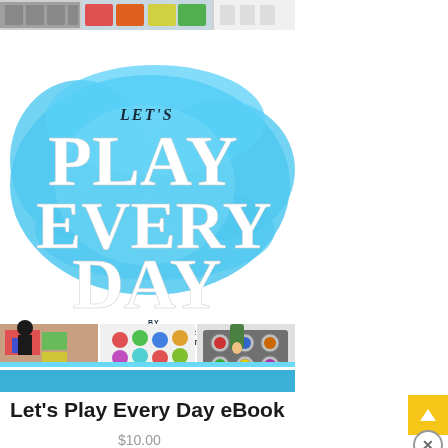[Figure (photo): Top strip showing partial images of educational toys/materials on a shelf]
[Figure (illustration): Book cover for 'Let's Play Every Day eBook' featuring blue paint splash background, large white bold text reading LET'S PLAY EVERY DAY, authors Katie Joiner and Kristina Fluitt MS, OTR/L, and photos of children doing sensory play activities]
Let's Play Every Day eBook
$10.00